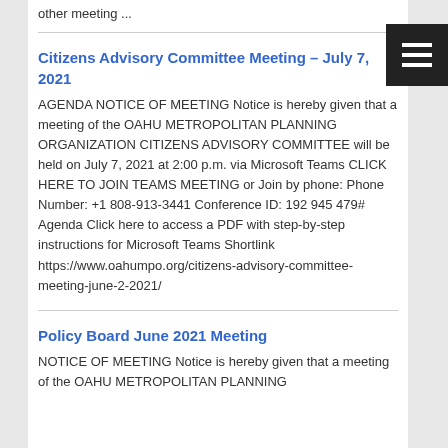other meeting ...
Citizens Advisory Committee Meeting – July 7, 2021
AGENDA NOTICE OF MEETING Notice is hereby given that a meeting of the OAHU METROPOLITAN PLANNING ORGANIZATION CITIZENS ADVISORY COMMITTEE will be held on July 7, 2021 at 2:00 p.m. via Microsoft Teams CLICK HERE TO JOIN TEAMS MEETING or Join by phone: Phone Number: +1 808-913-3441 Conference ID: 192 945 479# Agenda Click here to access a PDF with step-by-step instructions for Microsoft Teams Shortlink https://www.oahumpo.org/citizens-advisory-committee-meeting-june-2-2021/
Policy Board June 2021 Meeting
NOTICE OF MEETING Notice is hereby given that a meeting of the OAHU METROPOLITAN PLANNING